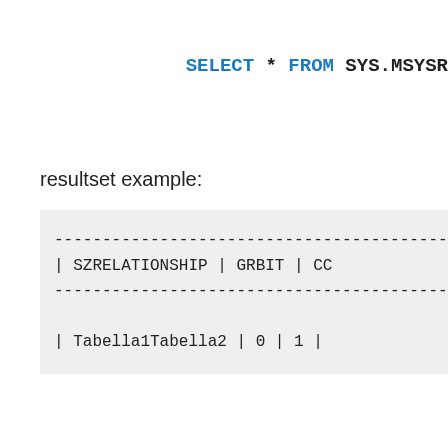SELECT * FROM SYS.MSYSR
resultset example:
--------------------------------------------
| SZRELATIONSHIP | GRBIT | CC
--------------------------------------------

| Tabella1Tabella2 | 0 | 1 |
Thanks, hope to hear from you soon,
Marco
★ Loading...
Reply